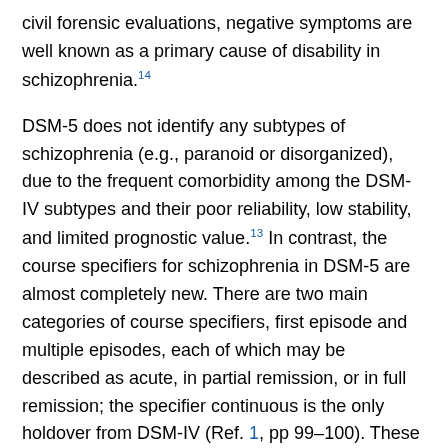civil forensic evaluations, negative symptoms are well known as a primary cause of disability in schizophrenia.14
DSM-5 does not identify any subtypes of schizophrenia (e.g., paranoid or disorganized), due to the frequent comorbidity among the DSM-IV subtypes and their poor reliability, low stability, and limited prognostic value.13 In contrast, the course specifiers for schizophrenia in DSM-5 are almost completely new. There are two main categories of course specifiers, first episode and multiple episodes, each of which may be described as acute, in partial remission, or in full remission; the specifier continuous is the only holdover from DSM-IV (Ref. 1, pp 99–100). These specifiers should allow clinicians to describe accurately the present clinical status of a person with schizophrenia. The specifiers are likely to see regular use in correctional psychiatry, where ongoing treatment is the norm, and in civil forensic evaluations, where the specifiers may be helpful in commitment and disability evaluations. The course specifiers are not as likely to be a factor in criminal evaluations of competence or